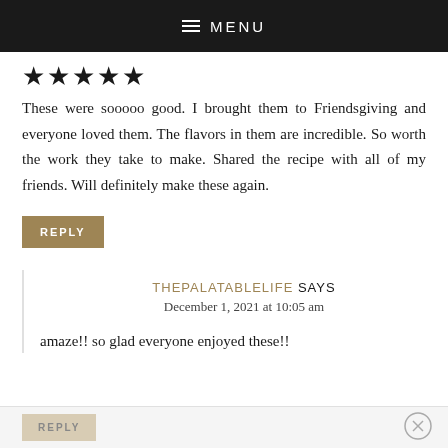MENU
★★★★★
These were sooooo good. I brought them to Friendsgiving and everyone loved them. The flavors in them are incredible. So worth the work they take to make. Shared the recipe with all of my friends. Will definitely make these again.
REPLY
THEPALATABLELIFE SAYS
December 1, 2021 at 10:05 am
amaze!! so glad everyone enjoyed these!!
REPLY